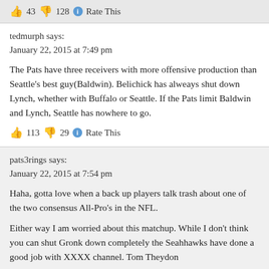👍 43 👎 128 ℹ Rate This
tedmurph says:
January 22, 2015 at 7:49 pm
The Pats have three receivers with more offensive production than Seattle's best guy(Baldwin). Belichick has alweays shut down Lynch, whether with Buffalo or Seattle. If the Pats limit Baldwin and Lynch, Seattle has nowhere to go.
👍 113 👎 29 ℹ Rate This
pats3rings says:
January 22, 2015 at 7:54 pm
Haha, gotta love when a back up players talk trash about one of the two consensus All-Pro's in the NFL.
Either way I am worried about this matchup. While I don't think you can shut Gronk down completely the Seahhawks have done a good job with XXXX channel. Tom Theydon